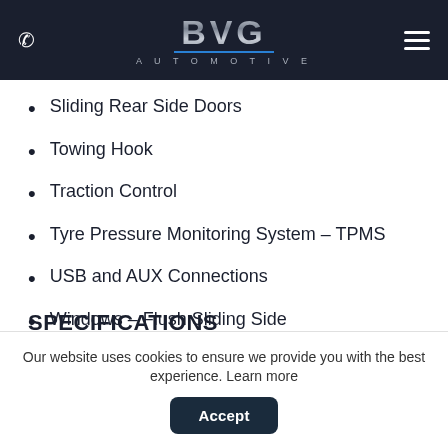BVG AUTOMOTIVE
Sliding Rear Side Doors
Towing Hook
Traction Control
Tyre Pressure Monitoring System – TPMS
USB and AUX Connections
Windows – Flush Sliding Side
SPECIFICATIONS
Our website uses cookies to ensure we provide you with the best experience. Learn more  Accept